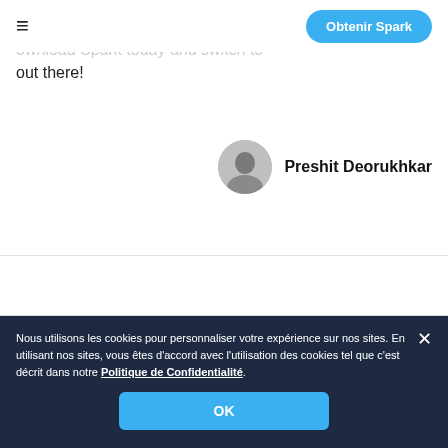≡  [nav bar with hamburger and Obtenir Spark button]
ownload Spark today and switch to... out there!
Preshit Deorukhkar
Nous utilisons les cookies pour personnaliser votre expérience sur nos sites. En utilisant nos sites, vous êtes d'accord avec l'utilisation des cookies tel que c'est décrit dans notre Politique de Confidentialité.
OK